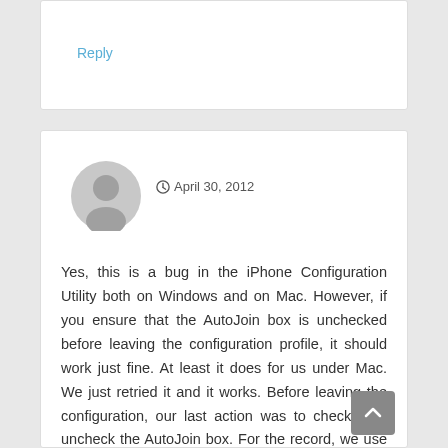Reply
April 30, 2012
Yes, this is a bug in the iPhone Configuration Utility both on Windows and on Mac. However, if you ensure that the AutoJoin box is unchecked before leaving the configuration profile, it should work just fine. At least it does for us under Mac. We just retried it and it works. Before leaving the configuration, our last action was to check then uncheck the AutoJoin box. For the record, we use iPhone Configuration Utility version 3.5 (289) for Mac.